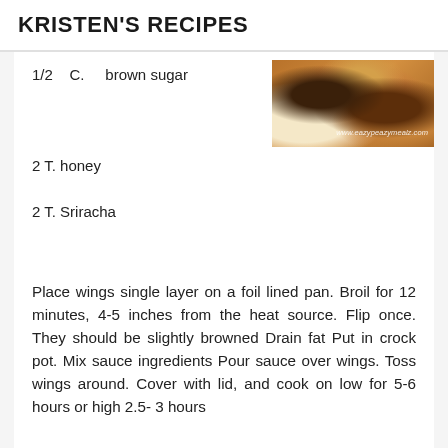KRISTEN'S RECIPES
1/2  C.  brown sugar
[Figure (photo): Close-up photo of glazed chicken wings with watermark www.eazypeazymealz.com]
2 T. honey
2 T. Sriracha
Place wings single layer on a foil lined pan. Broil for 12 minutes, 4-5 inches from the heat source. Flip once. They should be slightly browned Drain fat Put in crock pot. Mix sauce ingredients Pour sauce over wings. Toss wings around. Cover with lid, and cook on low for 5-6 hours or high 2.5- 3 hours